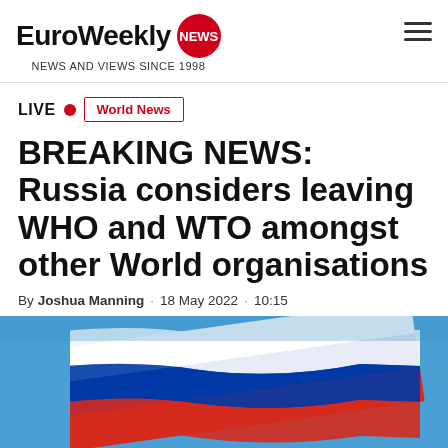EuroWeekly NEWS - NEWS AND VIEWS SINCE 1998
LIVE • World News
BREAKING NEWS: Russia considers leaving WHO and WTO amongst other World organisations
By Joshua Manning · 18 May 2022 · 10:15
[Figure (photo): Russian flag waving against a blue sky background]